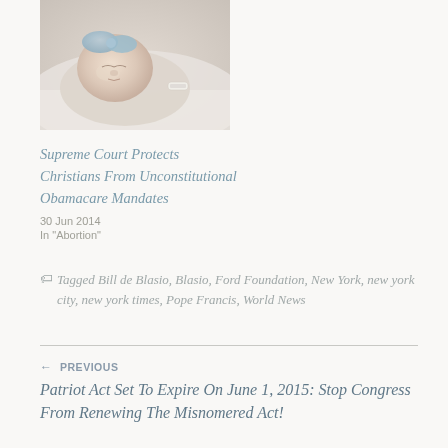[Figure (photo): A sleeping newborn baby with a blue bow/ribbon on its head, lying on white hospital blankets]
Supreme Court Protects Christians From Unconstitutional Obamacare Mandates
30 Jun 2014
In "Abortion"
Tagged Bill de Blasio, Blasio, Ford Foundation, New York, new york city, new york times, Pope Francis, World News
← PREVIOUS
Patriot Act Set To Expire On June 1, 2015: Stop Congress From Renewing The Misnomered Act!